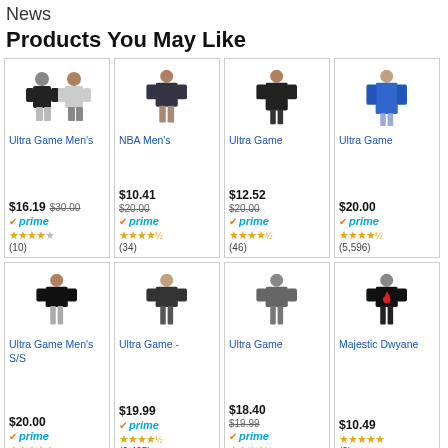News
Products You May Like
[Figure (photo): Ultra Game Men's apparel product image]
Ultra Game Men's
$16.19 $30.00 prime ★★★★ (10)
[Figure (photo): NBA Men's apparel product image]
NBA Men's
$10.41 $20.00 prime ★★★★½ (34)
[Figure (photo): Ultra Game apparel product image]
Ultra Game
$12.52 $20.00 prime ★★★★½ (46)
[Figure (photo): Ultra Game long sleeve product image]
Ultra Game
$20.00 prime ★★★★½ (5,596)
[Figure (photo): Ultra Game Men's S/S product image]
Ultra Game Men's S/S
$20.00 prime ★★★★★
[Figure (photo): Ultra Game product image]
Ultra Game -
$19.99 prime ★★★★½ (6,425)
[Figure (photo): Ultra Game product image]
Ultra Game
$18.40 $19.99 prime ★★★★½
[Figure (photo): Majestic Dwyane product image]
Majestic Dwyane
$10.49 ★★★★★ (2)